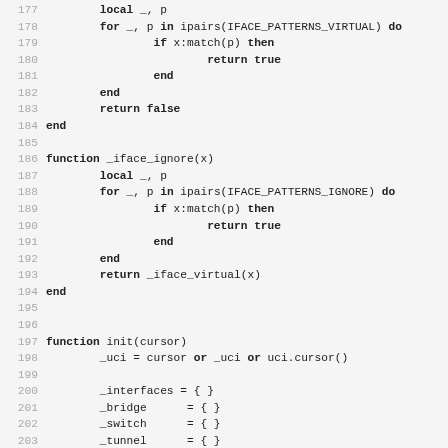Source code lines 177-209 showing Lua functions _iface_virtual, _iface_ignore, and init(cursor)